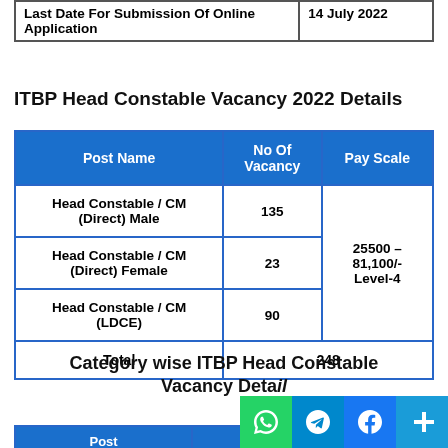| Last Date For Submission Of Online Application | 14 July 2022 |
| --- | --- |
ITBP Head Constable Vacancy 2022 Details
| Post Name | No Of Vacancy | Pay Scale |
| --- | --- | --- |
| Head Constable / CM (Direct) Male | 135 | 25500 – 81,100/- Level-4 |
| Head Constable / CM (Direct) Female | 23 |  |
| Head Constable / CM (LDCE) | 90 |  |
| Total | 248 |  |
Category wise ITBP Head Constable Vacancy Details